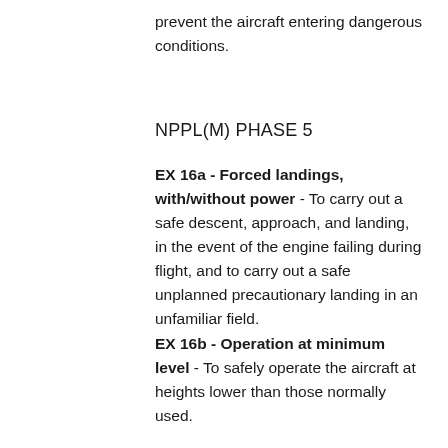prevent the aircraft entering dangerous conditions.
NPPL(M) PHASE 5
EX 16a - Forced landings, with/without power - To carry out a safe descent, approach, and landing, in the event of the engine failing during flight, and to carry out a safe unplanned precautionary landing in an unfamiliar field.
EX 16b - Operation at minimum level - To safely operate the aircraft at heights lower than those normally used.